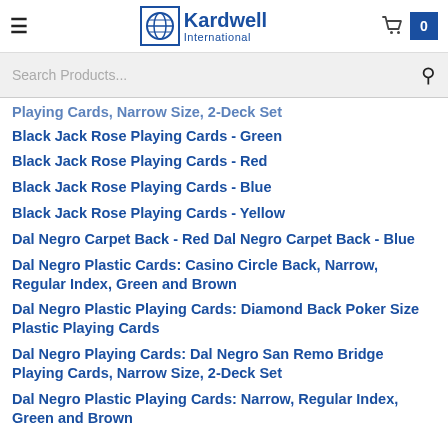Kardwell International
Search Products...
Playing Cards, Narrow Size, 2-Deck Set
Black Jack Rose Playing Cards - Green
Black Jack Rose Playing Cards - Red
Black Jack Rose Playing Cards - Blue
Black Jack Rose Playing Cards - Yellow
Dal Negro Carpet Back - Red Dal Negro Carpet Back - Blue
Dal Negro Plastic Cards: Casino Circle Back, Narrow, Regular Index, Green and Brown
Dal Negro Plastic Playing Cards: Diamond Back Poker Size Plastic Playing Cards
Dal Negro Playing Cards: Dal Negro San Remo Bridge Playing Cards, Narrow Size, 2-Deck Set
Dal Negro Plastic Playing Cards: Narrow, Regular Index, Green and Brown